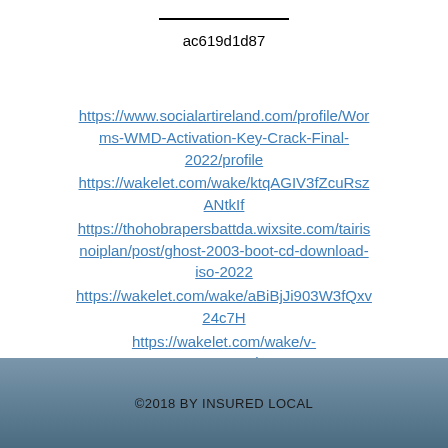ac619d1d87
https://www.socialartireland.com/profile/Worms-WMD-Activation-Key-Crack-Final-2022/profile https://wakelet.com/wake/ktqAGIV3fZcuRszANtkIf https://thohobrapersbattda.wixsite.com/tairisnoiplan/post/ghost-2003-boot-cd-download-iso-2022 https://wakelet.com/wake/aBiBjJi903W3fQxv24c7H https://wakelet.com/wake/v-63XHumT43tuLtip04cD
©2018 BY INSURED LOCAL